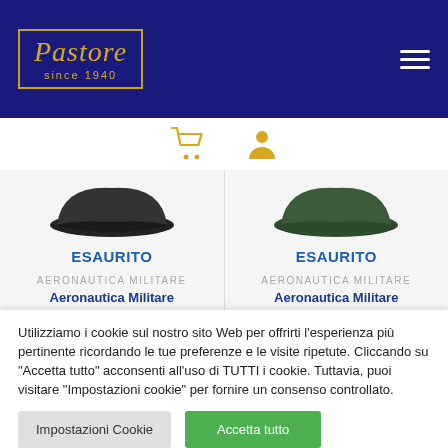[Figure (logo): Pastore since 1940 logo in gold on dark blue background with gold border rectangle]
[Figure (infographic): Shopping cart and user profile icons in gold on dark blue header bar]
ESAURITO
ESAURITO
AERONAUTICA MILITARE
AERONAUTICA MILITARE
Aeronautica Militare Cappello uomo berretto
Aeronautica Militare Cappello uomo berretto
Utilizziamo i cookie sul nostro sito Web per offrirti l'esperienza più pertinente ricordando le tue preferenze e le visite ripetute. Cliccando su "Accetta tutto" acconsenti all'uso di TUTTI i cookie. Tuttavia, puoi visitare "Impostazioni cookie" per fornire un consenso controllato.
Impostazioni Cookie
Accetta tutto